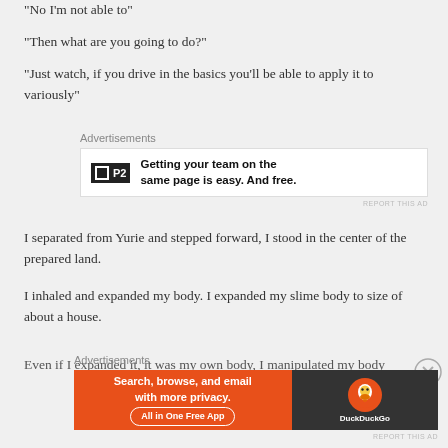“No I’m not able to”
“Then what are you going to do?”
“Just watch, if you drive in the basics you’ll be able to apply it to variously”
[Figure (other): P2 advertisement: Getting your team on the same page is easy. And free.]
I separated from Yurie and stepped forward, I stood in the center of the prepared land.
I inhaled and expanded my body. I expanded my slime body to size of about a house.
Even if I expanded it, it was my own body, I manipulated my body
[Figure (other): DuckDuckGo advertisement: Search, browse, and email with more privacy. All in One Free App]